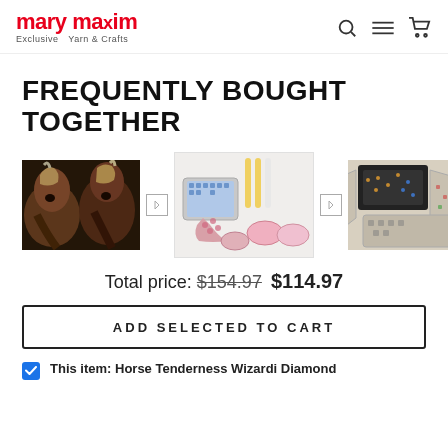[Figure (logo): Mary Maxim logo — red text with 'Exclusive Yarn & Crafts' tagline]
FREQUENTLY BOUGHT TOGETHER
[Figure (photo): Three product images side by side: two horses painting, diamond art tools kit, diamond art storage board]
Total price: $154.97 $114.97
ADD SELECTED TO CART
This item: Horse Tenderness Wizardi Diamond